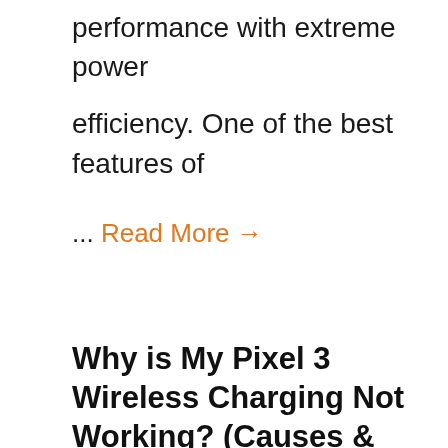performance with extreme power
efficiency. One of the best features of
... Read More →
Why is My Pixel 3 Wireless Charging Not Working? (Causes & Fixes)
August 12, 2022
[Figure (photo): Photo of a smartphone on a light gray background, partially visible at bottom of page]